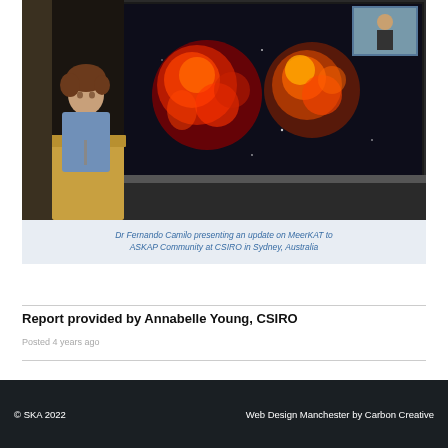[Figure (photo): Dr Fernando Camilo presenting at a lectern in a conference room, with a screen showing a radio astronomy image of two orange-red nebulae/supernova remnants against a dark background. A small inset photo of a person outdoors is visible in the top right of the screen.]
Dr Fernando Camilo presenting an update on MeerKAT to ASKAP Community at CSIRO in Sydney, Australia
Report provided by Annabelle Young, CSIRO
Posted 4 years ago
© SKA 2022   Web Design Manchester by Carbon Creative